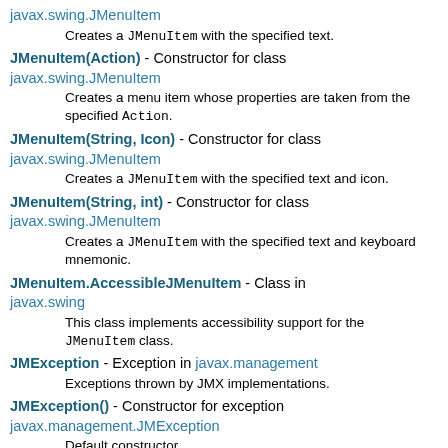javax.swing.JMenuItem - Creates a JMenuItem with the specified text.
JMenuItem(Action) - Constructor for class javax.swing.JMenuItem - Creates a menu item whose properties are taken from the specified Action.
JMenuItem(String, Icon) - Constructor for class javax.swing.JMenuItem - Creates a JMenuItem with the specified text and icon.
JMenuItem(String, int) - Constructor for class javax.swing.JMenuItem - Creates a JMenuItem with the specified text and keyboard mnemonic.
JMenuItem.AccessibleJMenuItem - Class in javax.swing - This class implements accessibility support for the JMenuItem class.
JMException - Exception in javax.management - Exceptions thrown by JMX implementations.
JMException() - Constructor for exception javax.management.JMException - Default constructor.
JMException(String) - Constructor for exception